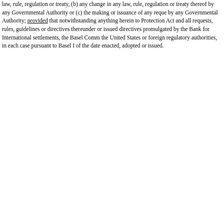law, rule, regulation or treaty, (b) any change in any law, rule, regulation or treaty thereof by any Governmental Authority or (c) the making or issuance of any reque by any Governmental Authority; provided that notwithstanding anything herein to Protection Act and all requests, rules, guidelines or directives thereunder or issued directives promulgated by the Bank for International settlements, the Basel Comm the United States or foreign regulatory authorities, in each case pursuant to Basel I of the date enacted, adopted or issued.
[Figure (screenshot): Cookie consent dialog overlay with 'Close' button, privacy notice text, 'Accept optional cookies' button, and 'Manage preferences' button on a light blue-grey background.]